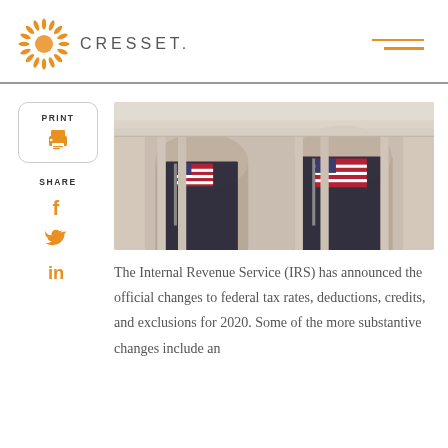CRESSET.
[Figure (logo): Cresset logo with sunburst/radial pattern in orange and the text CRESSET.]
[Figure (photo): Photo of a neoclassical government building facade with large American flags hanging from arched windows, taken from a low angle looking up.]
The Internal Revenue Service (IRS) has announced the official changes to federal tax rates, deductions, credits, and exclusions for 2020. Some of the more substantive changes include an